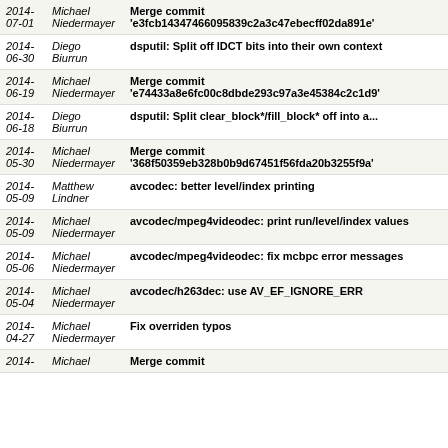| Date | Author | Message |
| --- | --- | --- |
| 2014-07-01 | Michael Niedermayer | Merge commit 'e3fcb14347466095839c2a3c47ebecff02da891e' |
| 2014-06-30 | Diego Biurrun | dsputil: Split off IDCT bits into their own context |
| 2014-06-19 | Michael Niedermayer | Merge commit 'e74433a8e6fc00c8dbde293c97a3e45384c2c1d9' |
| 2014-06-18 | Diego Biurrun | dsputil: Split clear_block*/fill_block* off into a... |
| 2014-05-30 | Michael Niedermayer | Merge commit '368f50359eb328b0b9d67451f56fda20b3255f9a' |
| 2014-05-09 | Matthew Lindner | avcodec: better level/index printing |
| 2014-05-09 | Michael Niedermayer | avcodec/mpeg4videodec: print run/level/index values |
| 2014-05-06 | Michael Niedermayer | avcodec/mpeg4videodec: fix mcbpc error messages |
| 2014-05-04 | Michael Niedermayer | avcodec/h263dec: use AV_EF_IGNORE_ERR |
| 2014-04-27 | Michael Niedermayer | Fix overriden typos |
| 2014- | Michael | Merge commit |